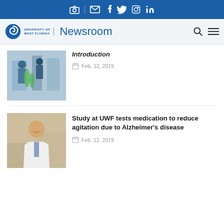University of West Florida Newsroom - social and navigation bar
[Figure (photo): Lab students working with green liquid in beakers, wearing safety goggles]
Introduction
Feb. 12, 2019
[Figure (photo): Doctor in white lab coat smiling, standing against beige background]
Study at UWF tests medication to reduce agitation due to Alzheimer's disease
Feb. 12, 2019